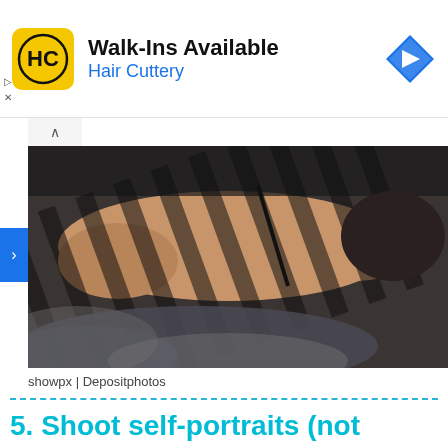[Figure (screenshot): Hair Cuttery advertisement banner with yellow HC logo, 'Walk-Ins Available' heading, 'Hair Cuttery' in blue, and a blue navigation arrow icon on the right]
[Figure (photo): Person lying on a bed with striped shadow light patterns across their body and hands, dark moody photography style]
showpx | Depositphotos
5. Shoot self-portraits (not